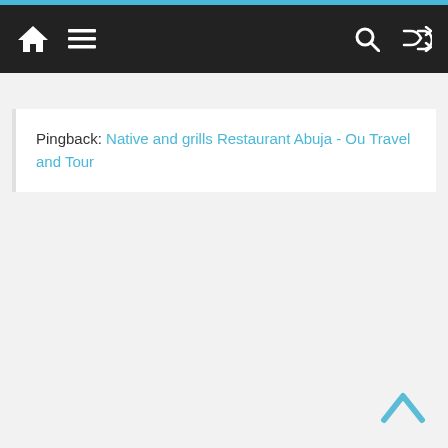[Figure (screenshot): Website navigation bar with home icon, hamburger menu icon on the left, and search and shuffle icons on the right, on a dark background with a cyan top accent bar.]
Pingback: Native and grills Restaurant Abuja - Ou Travel and Tour